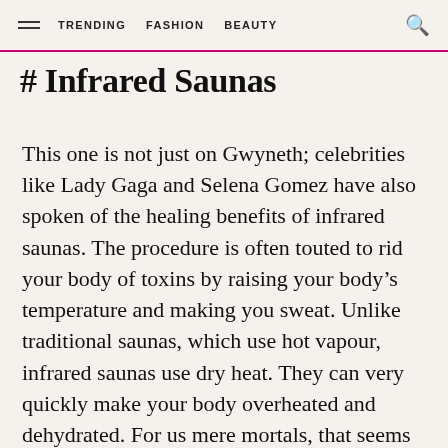TRENDING   FASHION   BEAUTY
# Infrared Saunas
This one is not just on Gwyneth; celebrities like Lady Gaga and Selena Gomez have also spoken of the healing benefits of infrared saunas. The procedure is often touted to rid your body of toxins by raising your body's temperature and making you sweat. Unlike traditional saunas, which use hot vapour, infrared saunas use dry heat. They can very quickly make your body overheated and dehydrated. For us mere mortals, that seems too much of a risky business to shell out a big chunk of our salary on.